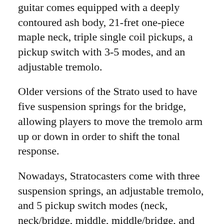guitar comes equipped with a deeply contoured ash body, 21-fret one-piece maple neck, triple single coil pickups, a pickup switch with 3-5 modes, and an adjustable tremolo.
Older versions of the Strato used to have five suspension springs for the bridge, allowing players to move the tremolo arm up or down in order to shift the tonal response.
Nowadays, Stratocasters come with three suspension springs, an adjustable tremolo, and 5 pickup switch modes (neck, neck/bridge, middle, middle/bridge, and bridge). The iconic double-cutout, highly contoured, and “two-horn” design of this guitar has been copied by countless other guitar makers.